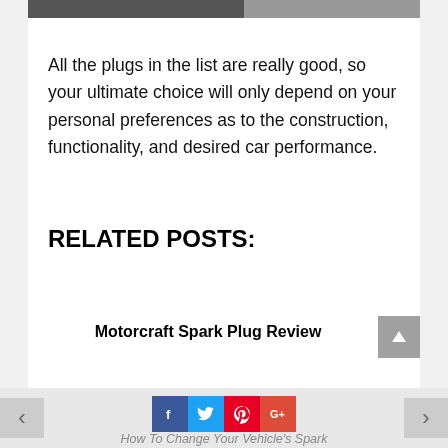[Figure (photo): Top portion of an image strip showing spark plugs or related automotive parts, partially cropped at the top of the page]
All the plugs in the list are really good, so your ultimate choice will only depend on your personal preferences as to the construction, functionality, and desired car performance.
RELATED POSTS:
Motorcraft Spark Plug Review
How To Change Your Vehicle's Spark